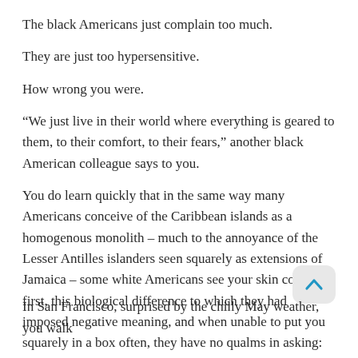The black Americans just complain too much.
They are just too hypersensitive.
How wrong you were.
“We just live in their world where everything is geared to them, to their comfort, to their fears,” another black American colleague says to you.
You do learn quickly that in the same way many Americans conceive of the Caribbean islands as a homogenous monolith – much to the annoyance of the Lesser Antilles islanders seen squarely as extensions of Jamaica – some white Americans see your skin color first, this biological difference to which they had imposed negative meaning, and when unable to put you squarely in a box often, they have no qualms in asking: “Well, what exactly are you, then?”
*
In San Francisco, surprised by the chilly May weather, you walk